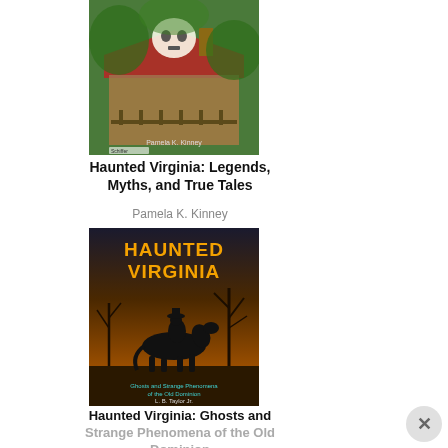[Figure (photo): Book cover of Haunted Virginia: Legends, Myths, and True Tales by Pamela K. Kinney. Shows a stone house with a skull face visible in the trees, with a red roof and lush green foliage. Schiffer Publishing logo at bottom.]
Haunted Virginia: Legends, Myths, and True Tales
Pamela K. Kinney
[Figure (photo): Book cover of Haunted Virginia: Ghosts and Strange Phenomena of the Old Dominion by L. B. Taylor Jr. Shows a dark silhouette of a person on horseback against an orange/amber sky with bare trees. Large yellow text reads HAUNTED VIRGINIA. Subtitle in teal text at bottom.]
Haunted Virginia: Ghosts and Strange Phenomena of the Old Dominion
L. B. Taylor Jr.